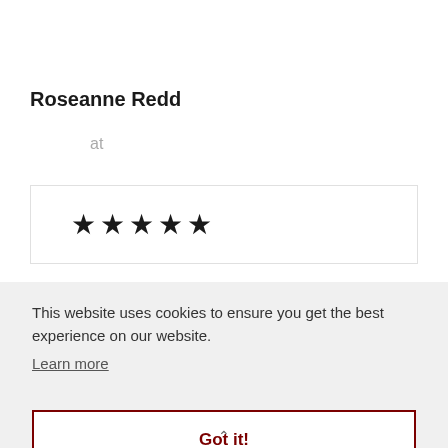Roseanne Redd
at
[Figure (other): Five filled black stars rating display inside a bordered box]
This website uses cookies to ensure you get the best experience on our website.
Learn more
Got it!